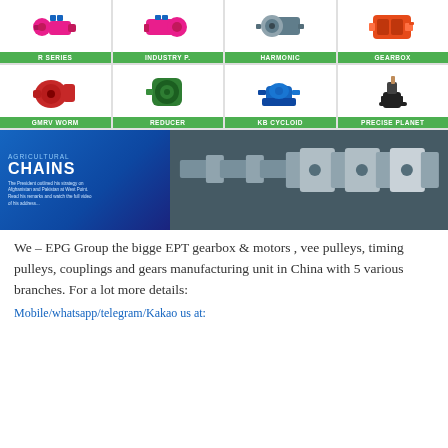[Figure (infographic): Product grid showing 8 mechanical products in 2 rows of 4, with green label bars: R SERIES (pink motor), INDUSTRY P. (pink inline motor), HARMONIC (silver harmonic drive), GEARBOX (orange gearbox), GMRV WORM (red worm gearbox), REDUCER (green reducer), KB CYCLOID (blue cycloid reducer), PRECISE PLANET (black planetary gearbox)]
[Figure (photo): Agricultural Chains banner: left side blue background with text 'AGRICULTURAL CHAINS' and description, right side photo of chain links on dark background]
We – EPG Group the bigge EPT gearbox & motors , vee pulleys, timing pulleys, couplings and gears manufacturing unit in China with 5 various branches. For a lot more details:
Mobile/whatsapp/telegram/Kakao us at: